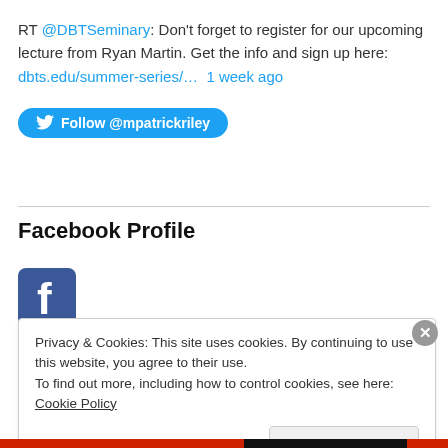RT @DBTSeminary: Don't forget to register for our upcoming lecture from Ryan Martin. Get the info and sign up here: dbts.edu/summer-series/… 1 week ago
[Figure (other): Twitter Follow button: Follow @mpatrickriley]
Facebook Profile
[Figure (logo): Facebook logo icon (blue square with white f)]
Privacy & Cookies: This site uses cookies. By continuing to use this website, you agree to their use.
To find out more, including how to control cookies, see here: Cookie Policy
Close and accept